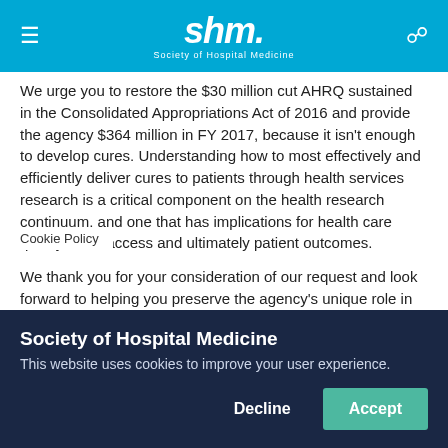shm. Society of Hospital Medicine
We urge you to restore the $30 million cut AHRQ sustained in the Consolidated Appropriations Act of 2016 and provide the agency $364 million in FY 2017, because it isn't enough to develop cures. Understanding how to most effectively and efficiently deliver cures to patients through health services research is a critical component on the health research continuum, and one that has implications for health care quality, cost, access and ultimately patient outcomes.
We thank you for your consideration of our request and look forward to helping you preserve the agency's unique role in vidence on the quality of health care and vidence is used in practice. For more
Cookie Policy
Society of Hospital Medicine
This website uses cookies to improve your user experience.
Decline
Accept